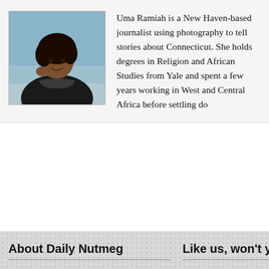[Figure (photo): Headshot photo of Uma Ramiah, a young woman with dark curly hair wearing a dark jacket, smiling, with a beach/ocean background.]
Uma Ramiah is a New Haven-based journalist using photography to tell stories about Connecticut. She holds degrees in Religion and African Studies from Yale and spent a few years working in West and Central Africa before settling do...
About Daily Nutmeg
Daily Nutmeg is the email you look forward to. Each weekday, you'll get an insightful community highlight or special offer designed to help you get the most out of New Haven. Sign up today.
Like us, won't you...